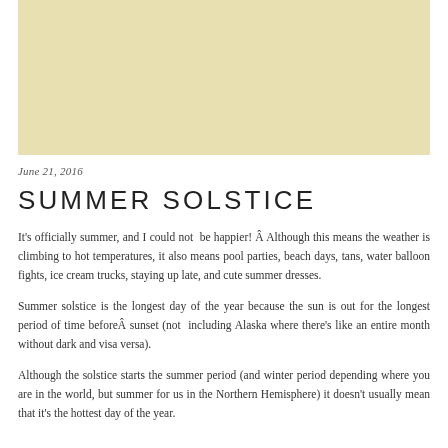[Figure (photo): A beige/tan colored rectangular image placeholder at the top of the page]
June 21, 2016
SUMMER SOLSTICE
It's officially summer, and I could not  be happier! Â Although this means the weather is climbing to hot temperatures, it also means pool parties, beach days, tans, water balloon fights, ice cream trucks, staying up late, and cute summer dresses.
Summer solstice is the longest day of the year because the sun is out for the longest period of time beforeÂ sunset (not  including Alaska where there's like an entire month without dark and visa versa).
Although the solstice starts the summer period (and winter period depending where you are in the world, but summer for us in the Northern Hemisphere) it doesn't usually mean that it's the hottest day of the year.